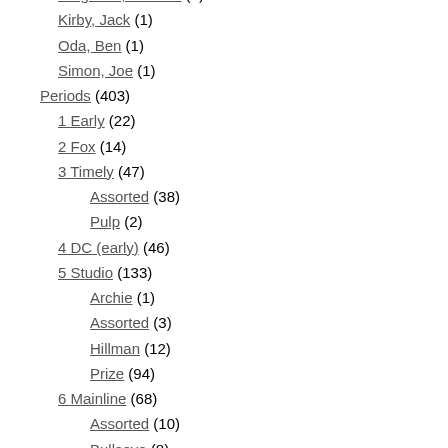Ferguson, Howard (1)
Kirby, Jack (1)
Oda, Ben (1)
Simon, Joe (1)
Periods (403)
1 Early (22)
2 Fox (14)
3 Timely (47)
Assorted (38)
Pulp (2)
4 DC (early) (46)
5 Studio (133)
Archie (1)
Assorted (3)
Hillman (12)
Prize (94)
6 Mainline (68)
Assorted (10)
Bullseye (8)